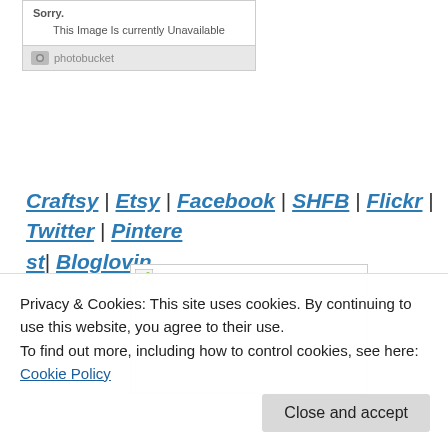[Figure (screenshot): Photobucket 'image unavailable' placeholder box showing 'Sorry. This Image Is currently Unavailable' with Photobucket logo footer]
Craftsy | Etsy | Facebook | SHFB | Flickr | Twitter | Pinterest | Bloglovin
[Figure (photo): Broken image placeholder with small image icon in top-left corner, rectangular white box with border]
Privacy & Cookies: This site uses cookies. By continuing to use this website, you agree to their use.
To find out more, including how to control cookies, see here: Cookie Policy